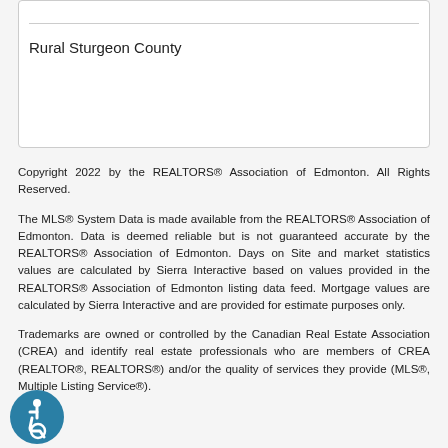Rural Sturgeon County
Copyright 2022 by the REALTORS® Association of Edmonton. All Rights Reserved.
The MLS® System Data is made available from the REALTORS® Association of Edmonton. Data is deemed reliable but is not guaranteed accurate by the REALTORS® Association of Edmonton. Days on Site and market statistics values are calculated by Sierra Interactive based on values provided in the REALTORS® Association of Edmonton listing data feed. Mortgage values are calculated by Sierra Interactive and are provided for estimate purposes only.
Trademarks are owned or controlled by the Canadian Real Estate Association (CREA) and identify real estate professionals who are members of CREA (REALTOR®, REALTORS®) and/or the quality of services they provide (MLS®, Multiple Listing Service®).
[Figure (illustration): Accessibility icon: circular blue badge with white wheelchair user symbol]